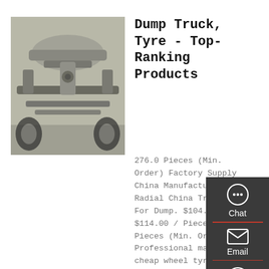[Figure (photo): Underside view of a truck or dump truck chassis, showing axle, suspension, and drivetrain components in gray tones]
Dump Truck, Tyre - Top-Ranking Products
276.0 Pieces (Min. Order) Factory Supply China Manufacturer Radial China Truck Tyre For Dump. $104.00 - $114.00 / Piece. 276.0 Pieces (Min. Order) Professional manufacture cheap wheel tyre prices. $49.00 - $54.00 / Piece. 860.0 Pieces (Min.